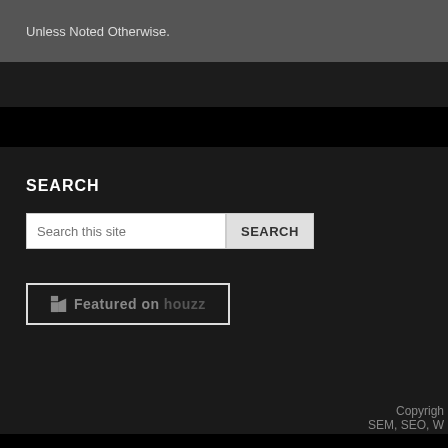Unless Noted Otherwise.
SEARCH
[Figure (screenshot): Search input field with placeholder 'Search this site' and a SEARCH button]
[Figure (logo): Featured on houzz badge]
MACQUARIE JOIN
Home
About Us
Glossary
Copyright SEM, SEO, W